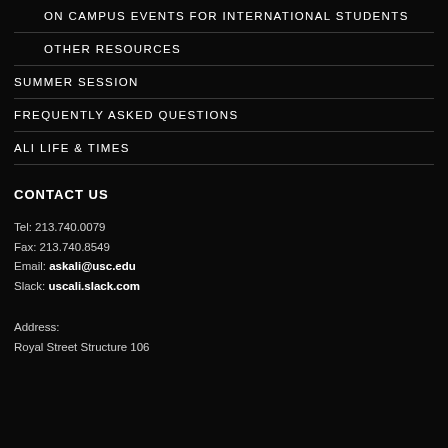ON CAMPUS EVENTS FOR INTERNATIONAL STUDENTS
OTHER RESOURCES
SUMMER SESSION
FREQUENTLY ASKED QUESTIONS
ALI LIFE & TIMES
CONTACT US
Tel: 213.740.0079
Fax: 213.740.8549
Email: askali@usc.edu
Slack: uscali.slack.com
Address:
Royal Street Structure 106